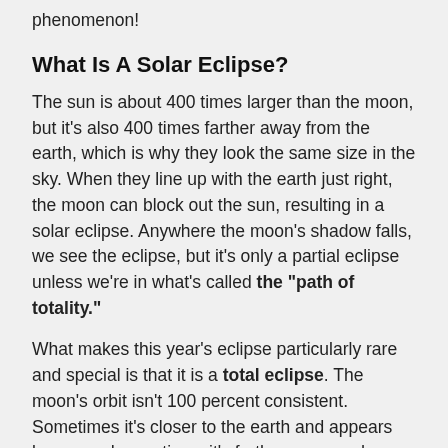phenomenon!
What Is A Solar Eclipse?
The sun is about 400 times larger than the moon, but it's also 400 times farther away from the earth, which is why they look the same size in the sky. When they line up with the earth just right, the moon can block out the sun, resulting in a solar eclipse. Anywhere the moon's shadow falls, we see the eclipse, but it's only a partial eclipse unless we're in what's called the "path of totality."
What makes this year's eclipse particularly rare and special is that it is a total eclipse. The moon's orbit isn't 100 percent consistent. Sometimes it's closer to the earth and appears larger, and sometimes it's farther away and appears smaller. When it lines up with the sun